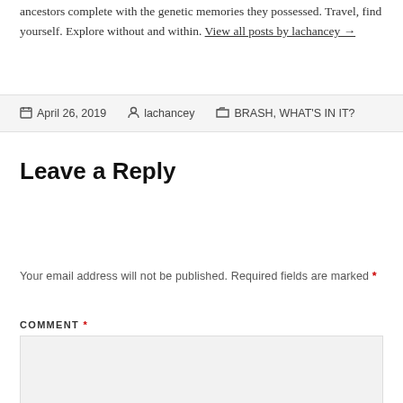ancestors complete with the genetic memories they possessed. Travel, find yourself. Explore without and within. View all posts by lachancey →
April 26, 2019   lachancey   BRASH, WHAT'S IN IT?
Leave a Reply
Your email address will not be published. Required fields are marked *
COMMENT *